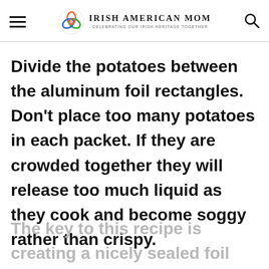Irish American Mom - Celebrating Our Irish Heritage Together
Divide the potatoes between the aluminum foil rectangles. Don't place too many potatoes in each packet. If they are crowded together they will release too much liquid as they cook and become soggy rather than crispy.
The key to this recipe is creating a nicely sealed foil packet. To do s